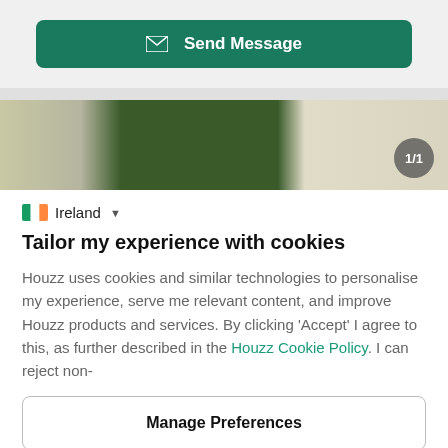[Figure (screenshot): Send Message button — dark green rounded button with envelope icon and white text 'Send Message']
[Figure (photo): Interior room photo strip showing olive/beige curtains and dark green cabinet/wall, with a circular counter badge '1/1' in bottom right]
Ireland (country selector with dropdown arrow)
Tailor my experience with cookies
Houzz uses cookies and similar technologies to personalise my experience, serve me relevant content, and improve Houzz products and services. By clicking 'Accept' I agree to this, as further described in the Houzz Cookie Policy. I can reject non-
[Figure (screenshot): Manage Preferences button — outlined white rounded button with bold text]
[Figure (screenshot): Accept button — dark green rounded button with bold white text 'Accept']